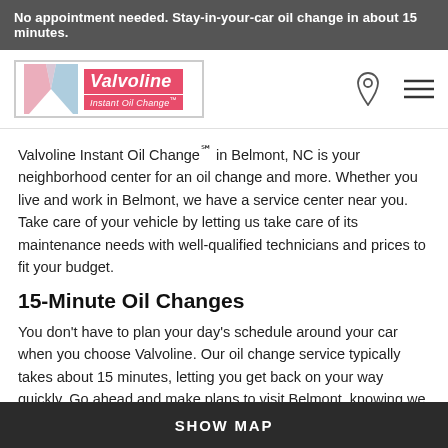No appointment needed. Stay-in-your-car oil change in about 15 minutes.
[Figure (logo): Valvoline Instant Oil Change logo with V chevron in pink and blue, and red Valvoline wordmark]
Valvoline Instant Oil Change℠ in Belmont, NC is your neighborhood center for an oil change and more. Whether you live and work in Belmont, we have a service center near you. Take care of your vehicle by letting us take care of its maintenance needs with well-qualified technicians and prices to fit your budget.
15-Minute Oil Changes
You don't have to plan your day's schedule around your car when you choose Valvoline. Our oil change service typically takes about 15 minutes, letting you get back on your way quickly. Go ahead and make plans to visit Belmont, knowing we won't tie up your day. While you're here, we'll also perform a full maintenance check, in the same 15 minutes. It includes assessing everything from your vehicle's
SHOW MAP